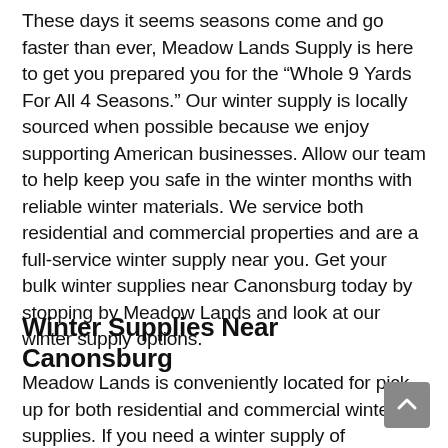These days it seems seasons come and go faster than ever, Meadow Lands Supply is here to get you prepared you for the “Whole 9 Yards For All 4 Seasons.” Our winter supply is locally sourced when possible because we enjoy supporting American businesses. Allow our team to help keep you safe in the winter months with reliable winter materials. We service both residential and commercial properties and are a full-service winter supply near you. Get your bulk winter supplies near Canonsburg today by stopping by Meadow Lands and look at our winter supply options.
Winter Supplies Near Canonsburg
Meadow Lands is conveniently located for pick-up for both residential and commercial winter supplies. If you need a winter supply of